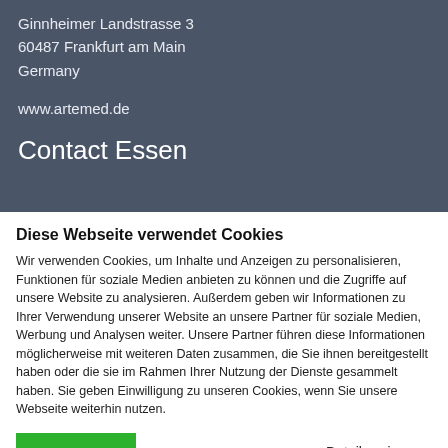Ginnheimer Landstrasse 3
60487 Frankfurt am Main
Germany
www.artemed.de
Contact Essen
Diese Webseite verwendet Cookies
Wir verwenden Cookies, um Inhalte und Anzeigen zu personalisieren, Funktionen für soziale Medien anbieten zu können und die Zugriffe auf unsere Website zu analysieren. Außerdem geben wir Informationen zu Ihrer Verwendung unserer Website an unsere Partner für soziale Medien, Werbung und Analysen weiter. Unsere Partner führen diese Informationen möglicherweise mit weiteren Daten zusammen, die Sie ihnen bereitgestellt haben oder die sie im Rahmen Ihrer Nutzung der Dienste gesammelt haben. Sie geben Einwilligung zu unseren Cookies, wenn Sie unsere Webseite weiterhin nutzen.
OK
Details zeigen